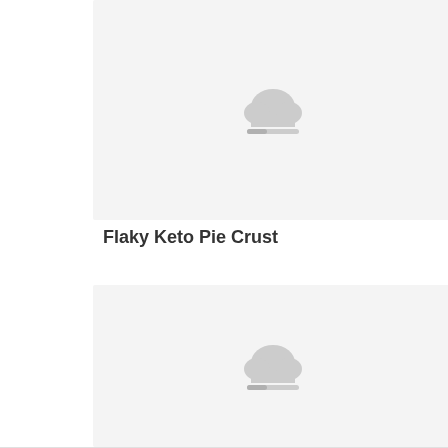[Figure (photo): Placeholder image card with cloud upload icon, light gray background, top card]
Flaky Keto Pie Crust
[Figure (photo): Placeholder image card with cloud upload icon, light gray background, bottom card]